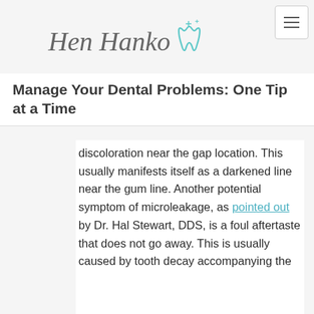[Hamburger menu button]
[Figure (logo): Dental blog logo with cursive text 'Hen Hanka' and a teal tooth icon with sparkles]
Manage Your Dental Problems One Tip at a Time
discoloration near the gap location. This usually manifests itself as a darkened line near the gum line. Another potential symptom of microleakage, as pointed out by Dr. Hal Stewart, DDS, is a foul aftertaste that does not go away. This is usually caused by tooth decay accompanying the